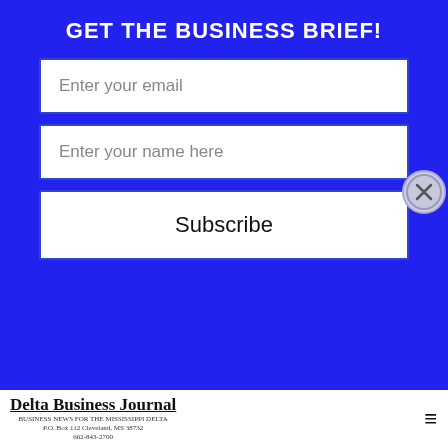GET THE BUSINESS BRIEF!
Enter your email
Enter your name here
Subscribe
[Figure (screenshot): Close button (X) circle on right side of overlay]
[Figure (logo): Delta Business Journal logo with subtitle text and address]
luxury. It was our duty, in a way, to provide this service. Right now our membership can use TVIfiber, but s... can build out and go outside of members-only in the future. We've just wrapped up Phase I of our work in Panola County and are well into Phase II, with plans to start Phase III later in the year. We have over 1000 miles of fiber in the air right now and have gotten service to right at 2400 customers. We provide telephone, landline service through VoIP and wi-fi services with the internet product all at a cost that is incredibly affordable. The packages